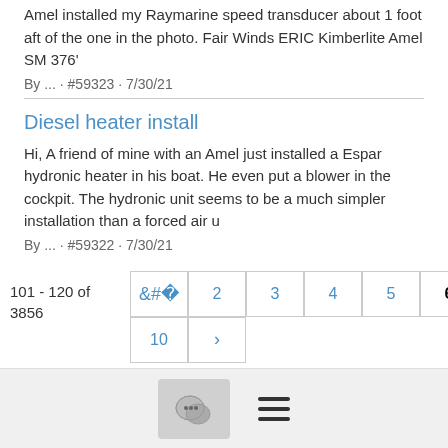Amel installed my Raymarine speed transducer about 1 foot aft of the one in the photo. Fair Winds ERIC Kimberlite Amel SM 376'
By ... · #59323 · 7/30/21
Diesel heater install
Hi, A friend of mine with an Amel just installed a Espar hydronic heater in his boat. He even put a blower in the cockpit. The hydronic unit seems to be a much simpler installation than a forced air u
By ... · #59322 · 7/30/21
101 - 120 of 3856
[Figure (other): Pagination controls showing pages 2-9 in first row and 10 with next arrow in second row, with page 6 highlighted/bold. Left arrow also present.]